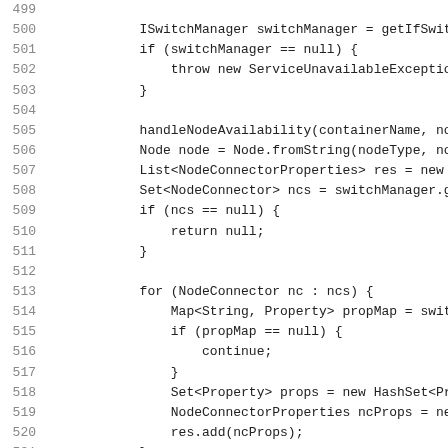Code listing lines 499-530, Java source code showing switchManager and NodeConnector handling